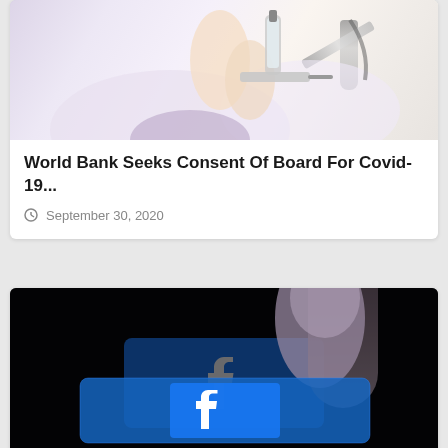[Figure (photo): A doctor or medical professional in a white coat drawing liquid into a syringe from a small vial — vaccine preparation scene]
World Bank Seeks Consent Of Board For Covid-19...
September 30, 2020
[Figure (photo): A finger pointing at or touching a Facebook logo on a dark screen/tablet — dark background with blue Facebook 'f' logo visible]
Facebook Bans Ads That Spreads Voting Fraud